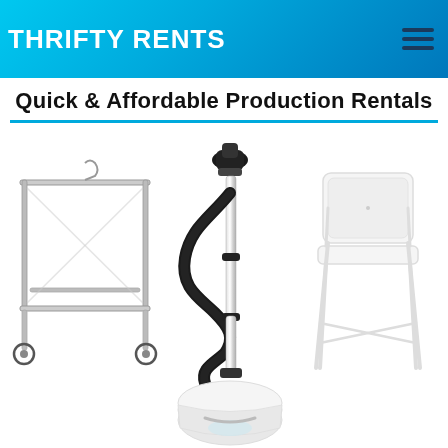THRIFTY RENTS
Quick & Affordable Production Rentals
[Figure (illustration): Chrome clothing/garment rack on wheels with lower shelf bar]
[Figure (illustration): Standing garment steamer with black head/nozzle, flexible black hose, chrome pole, and white base unit]
[Figure (illustration): White folding chair]